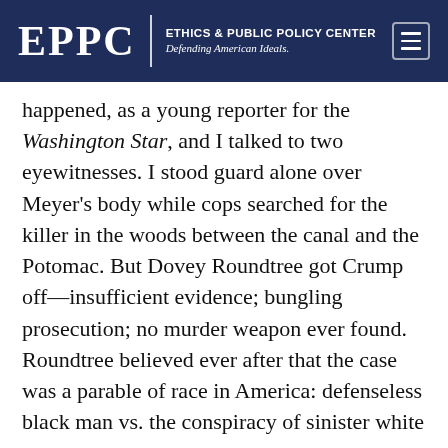EPPC | ETHICS & PUBLIC POLICY CENTER | Defending American Ideals.
happened, as a young reporter for the Washington Star, and I talked to two eyewitnesses. I stood guard alone over Meyer's body while cops searched for the killer in the woods between the canal and the Potomac. But Dovey Roundtree got Crump off—insufficient evidence; bungling prosecution; no murder weapon ever found. Roundtree believed ever after that the case was a parable of race in America: defenseless black man vs. the conspiracy of sinister white power.
Roundtree told her life story in a fine memoir, Justice Older Than the Law,